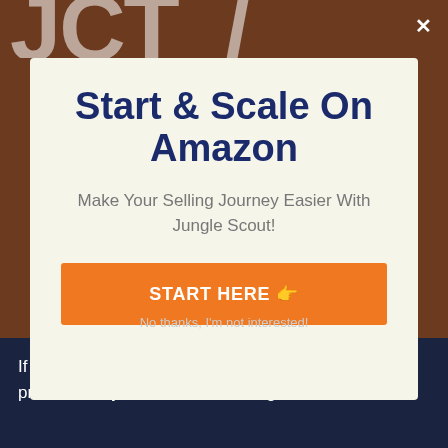[Figure (screenshot): Background with brown/dark area and JCT letters visible at top]
Start & Scale On Amazon
Make Your Selling Journey Easier With Jungle Scout!
START HERE 👉
No thanks, I'm not interested!
If you are on the go and also wish to keyword or product study then utilize the Jungle Scout